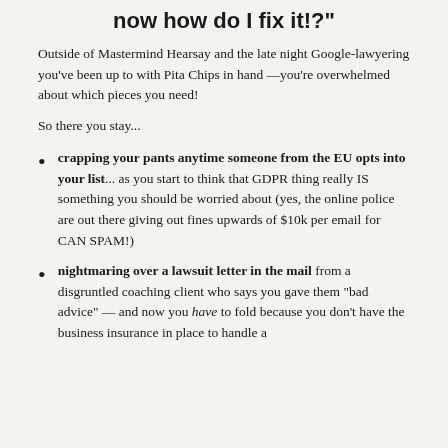now how do I fix it!?"
Outside of Mastermind Hearsay and the late night Google-lawyering you’ve been up to with Pita Chips in hand —you’re overwhelmed about which pieces you need!
So there you stay...
crapping your pants anytime someone from the EU opts into your list... as you start to think that GDPR thing really IS something you should be worried about (yes, the online police are out there giving out fines upwards of $10k per email for CAN SPAM!)
nightmaring over a lawsuit letter in the mail from a disgruntled coaching client who says you gave them “bad advice” — and now you have to fold because you don’t have the business insurance in place to handle a